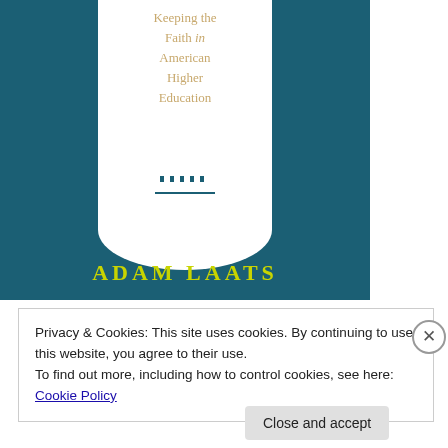[Figure (illustration): Book cover of 'Keeping the Faith in American Higher Education' by Adam Laats. Dark teal background with a large white U-shape containing the title text in gold and a small white illustration of a university building with a clock tower. Author name 'ADAM LAATS' in bold yellow-green letters at the bottom.]
Privacy & Cookies: This site uses cookies. By continuing to use this website, you agree to their use.
To find out more, including how to control cookies, see here: Cookie Policy
Close and accept